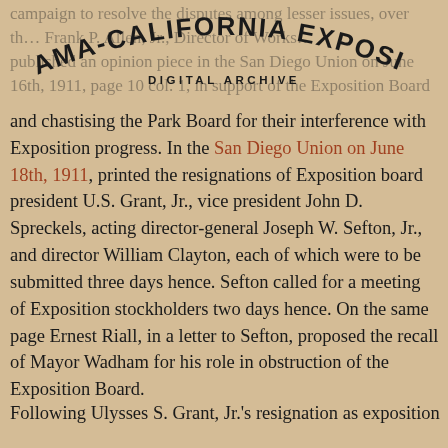PANAMA-CALIFORNIA EXPOSITION
DIGITAL ARCHIVE
campaign to resolve the disputes among lesser issues, over the… Frank P. Allen, Jr., Director of Works…published an opinion piece in the San Diego Union on June 16th, 1911, page 10 col. 1, in support of the Exposition Board and chastising the Park Board for their interference with Exposition progress. In the San Diego Union on June 18th, 1911, printed the resignations of Exposition board president U.S. Grant, Jr., vice president John D. Spreckels, acting director-general Joseph W. Sefton, Jr., and director William Clayton, each of which were to be submitted three days hence. Sefton called for a meeting of Exposition stockholders two days hence. On the same page Ernest Riall, in a letter to Sefton, proposed the recall of Mayor Wadham for his role in obstruction of the Exposition Board.
Following Ulysses S. Grant, Jr.'s resignation as exposition